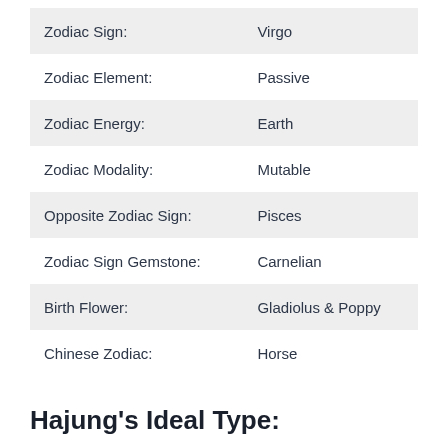| Zodiac Sign: | Virgo |
| Zodiac Element: | Passive |
| Zodiac Energy: | Earth |
| Zodiac Modality: | Mutable |
| Opposite Zodiac Sign: | Pisces |
| Zodiac Sign Gemstone: | Carnelian |
| Birth Flower: | Gladiolus & Poppy |
| Chinese Zodiac: | Horse |
Hajung's Ideal Type: